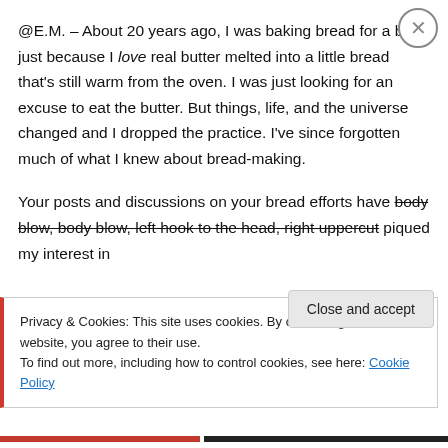@E.M. – About 20 years ago, I was baking bread for a bit just because I love real butter melted into a little bread that's still warm from the oven. I was just looking for an excuse to eat the butter. But things, life, and the universe changed and I dropped the practice. I've since forgotten much of what I knew about bread-making.
Your posts and discussions on your bread efforts have body blow, body blow, left hook to the head, right uppercut piqued my interest in
Privacy & Cookies: This site uses cookies. By continuing to use this website, you agree to their use.
To find out more, including how to control cookies, see here: Cookie Policy
Close and accept